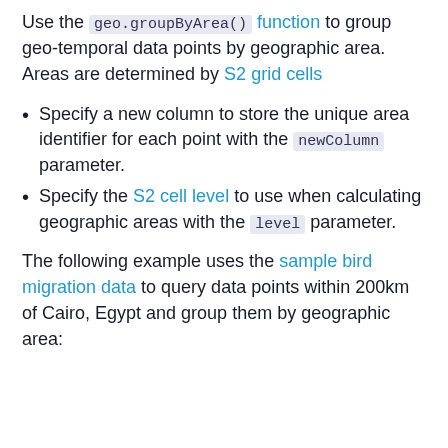Use the geo.groupByArea() function to group geo-temporal data points by geographic area. Areas are determined by S2 grid cells
Specify a new column to store the unique area identifier for each point with the newColumn parameter.
Specify the S2 cell level to use when calculating geographic areas with the level parameter.
The following example uses the sample bird migration data to query data points within 200km of Cairo, Egypt and group them by geographic area: